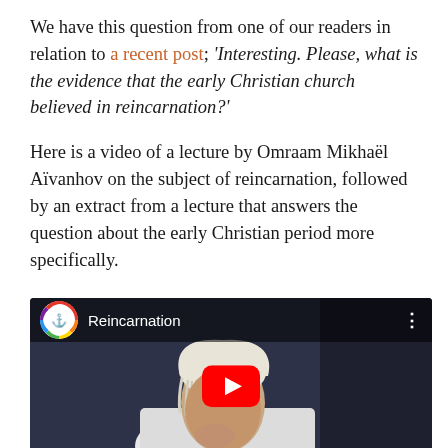We have this question from one of our readers in relation to a recent post; 'Interesting. Please, what is the evidence that the early Christian church believed in reincarnation?'
Here is a video of a lecture by Omraam Mikhaël Aïvanhov on the subject of reincarnation, followed by an extract from a lecture that answers the question about the early Christian period more specifically.
[Figure (screenshot): YouTube video embed showing a video titled 'Reincarnation' with a channel icon featuring a rainbow-striped circle and anchor logo, a YouTube play button overlay, and a background still of an elderly white-haired man in a white jacket]